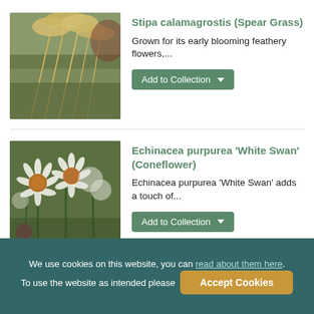[Figure (photo): Close-up photo of Stipa calamagrostis ornamental grass with feathery seed heads in a garden setting]
Stipa calamagrostis (Spear Grass)
Grown for its early blooming feathery flowers,...
[Figure (photo): Close-up photo of Echinacea purpurea White Swan coneflowers with white petals and orange-brown centres in a garden]
Echinacea purpurea 'White Swan' (Coneflower)
Echinacea purpurea 'White Swan' adds a touch of...
We use cookies on this website, you can read about them here. To use the website as intended please  Accept Cookies